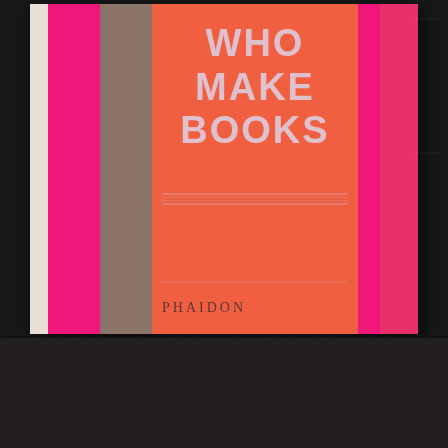[Figure (photo): A photograph of a hardcover book titled 'WHO MAKE BOOKS' published by Phaidon, lying on a dark leather surface. The book cover features bold vertical stripes in hot pink, gray-brown, and coral orange, with the title in pale lavender text on the orange stripe. The Phaidon logo appears in dark red at the bottom left of the cover.]